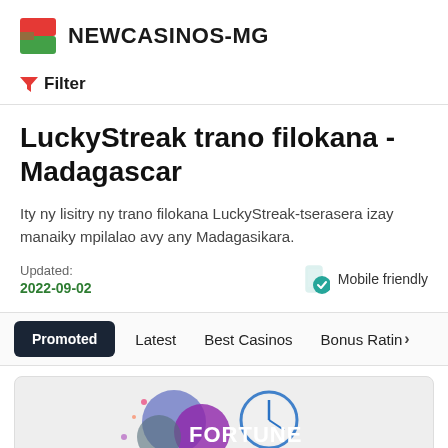NEWCASINOS-MG
Filter
LuckyStreak trano filokana - Madagascar
Ity ny lisitry ny trano filokana LuckyStreak-tserasera izay manaiky mpilalao avy any Madagasikara.
Updated: 2022-09-02
Mobile friendly
Promoted  Latest  Best Casinos  Bonus Ratin >
[Figure (logo): Fortune Clock casino logo with decorative balls and clock design]